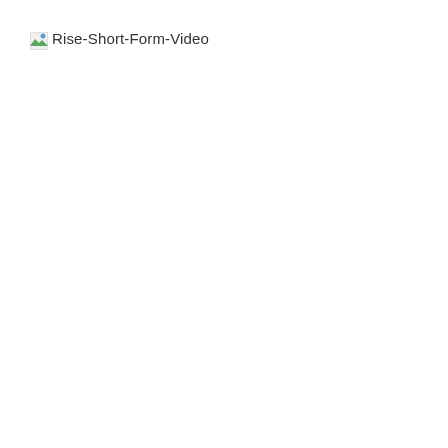[Figure (other): Broken image placeholder with alt text 'Rise-Short-Form-Video'. Shows a small broken image icon (green and blue mountain/landscape icon) followed by the alt text 'Rise-Short-Form-Video' in default browser broken-image style.]